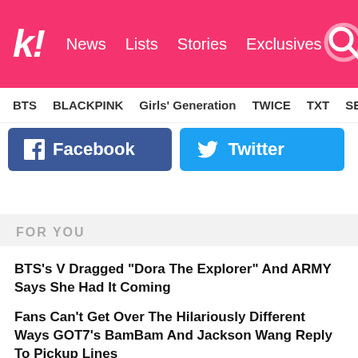koreaboo — News | Lists | Stories | Exclusives
BTS   BLACKPINK   Girls' Generation   TWICE   TXT   SEVE
[Figure (other): Facebook share button (blue) and Twitter share button (light blue) side by side]
FOR YOU
BTS's V Dragged "Dora The Explorer" And ARMY Says She Had It Coming
Fans Can't Get Over The Hilariously Different Ways GOT7's BamBam And Jackson Wang Reply To Pickup Lines
GOT7's BamBam And BLACKPINK's Lisa Prove They Are Like Family As His Sister Shares A Throwback Picture